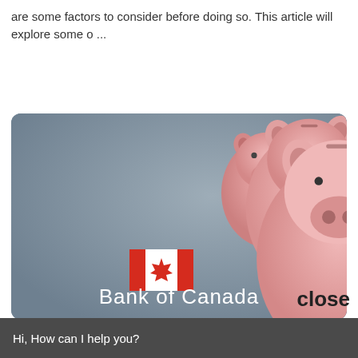are some factors to consider before doing so. This article will explore some o ...
read more
[Figure (photo): Image of multiple pink piggy banks on a grey background with a Canadian flag and text 'Bank of Canada' overlaid]
close
Hi, How can I help you?